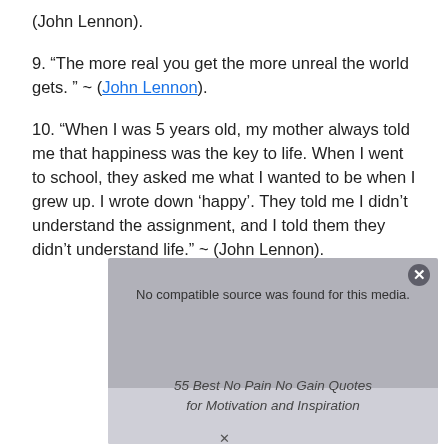(John Lennon).
9. “The more real you get the more unreal the world gets. ” ~ (John Lennon).
10. “When I was 5 years old, my mother always told me that happiness was the key to life. When I went to school, they asked me what I wanted to be when I grew up. I wrote down ‘happy’. They told me I didn’t understand the assignment, and I told them they didn’t understand life.” ~ (John Lennon).
[Figure (screenshot): Video overlay with close button (X), message 'No compatible source was found for this media.' and watermark text '55 Best No Pain No Gain Quotes for Motivation and Inspiration']